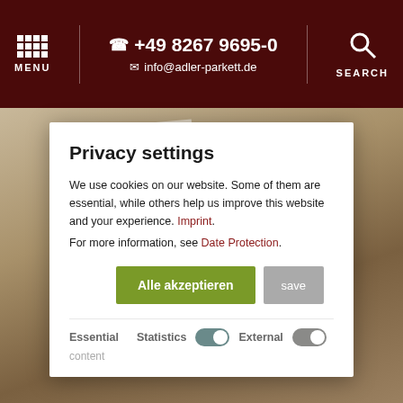MENU | +49 8267 9695-0 | info@adler-parkett.de | SEARCH
Privacy settings
We use cookies on our website. Some of them are essential, while others help us improve this website and your experience. Imprint.
For more information, see Date Protection.
Alle akzeptieren | save
Essential    Statistics [toggle]    External [toggle]    content